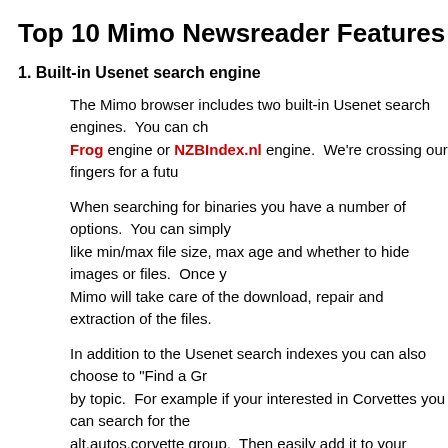Top 10 Mimo Newsreader Features
1. Built-in Usenet search engine
The Mimo browser includes two built-in Usenet search engines. You can ch Frog engine or NZBIndex.nl engine. We're crossing our fingers for a futu
When searching for binaries you have a number of options. You can simply like min/max file size, max age and whether to hide images or files. Once y Mimo will take care of the download, repair and extraction of the files.
In addition to the Usenet search indexes you can also choose to "Find a Gr by topic. For example if your interested in Corvettes you can search for the alt.autos.corvette group. Then easily add it to your favorite groups.
2. Automated RAR assembly
We get questions from new Usenet users all the time asking what to do with can be difficult getting started with newsgroups if you don't know the ropes. files. Using Mimo you don't have to worry about what to do with the Rar's b automatically assemble them for you. Without the need for WinRAR or ano
3. PAR2 recovery as needed
Assembling the Rar's is only half the story. At times you will need to repair PAR files. Normally you would need a third party application like QuickPar